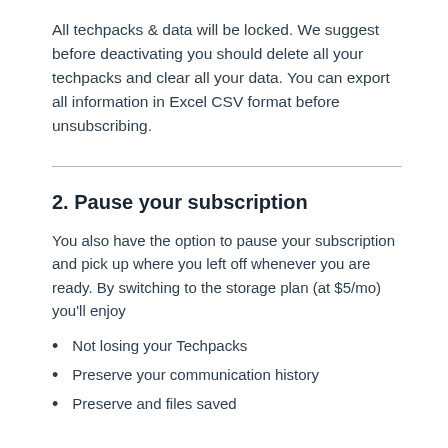All techpacks & data will be locked. We suggest before deactivating you should delete all your techpacks and clear all your data. You can export all information in Excel CSV format before unsubscribing.
2. Pause your subscription
You also have the option to pause your subscription and pick up where you left off whenever you are ready. By switching to the storage plan (at $5/mo) you'll enjoy
Not losing your Techpacks
Preserve your communication history
Preserve and files saved